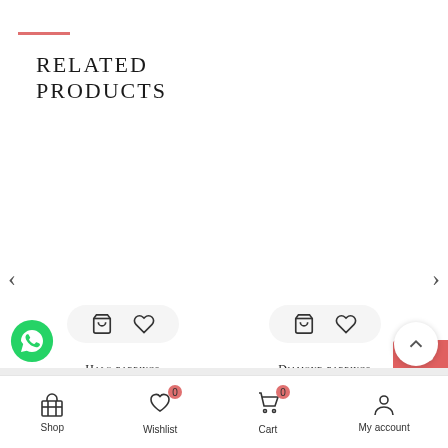RELATED PRODUCTS
[Figure (screenshot): Product card for Halo earrings with cart and wishlist icons]
Halo earrings
USD $ 937.66
[Figure (screenshot): Product card for Diamond earrings with cart and wishlist icons]
Diamond earrings
USD $ 692.08
Shop  Wishlist 0  Cart 0  My account